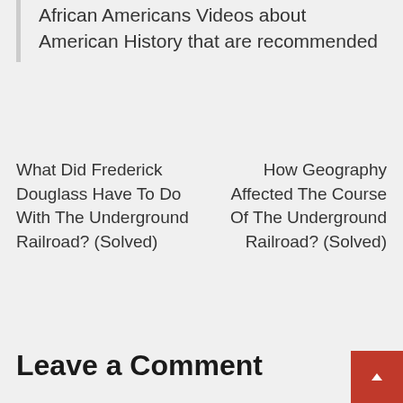African Americans Videos about American History that are recommended
What Did Frederick Douglass Have To Do With The Underground Railroad? (Solved)
How Geography Affected The Course Of The Underground Railroad? (Solved)
Leave a Comment
Your email address will not be published. Required fields are marked *
Your Comment Here ...